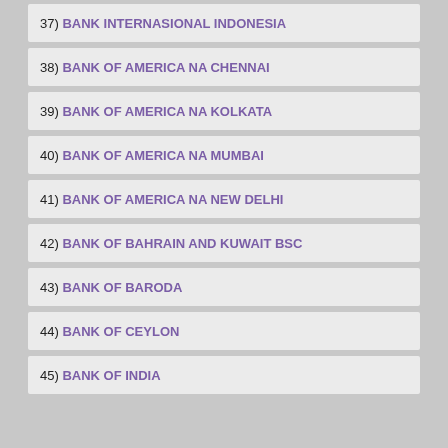37) BANK INTERNASIONAL INDONESIA
38) BANK OF AMERICA NA CHENNAI
39) BANK OF AMERICA NA KOLKATA
40) BANK OF AMERICA NA MUMBAI
41) BANK OF AMERICA NA NEW DELHI
42) BANK OF BAHRAIN AND KUWAIT BSC
43) BANK OF BARODA
44) BANK OF CEYLON
45) BANK OF INDIA